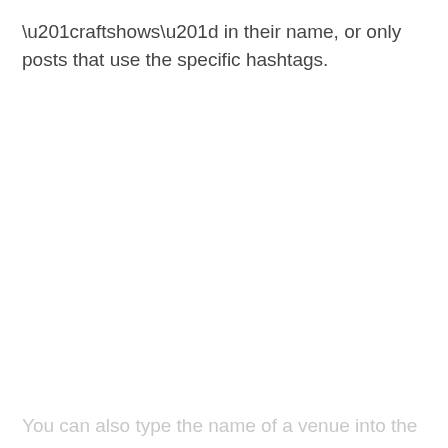“raftshows” in their name, or only posts that use the specific hashtags.
You can also type the name of a venue into the